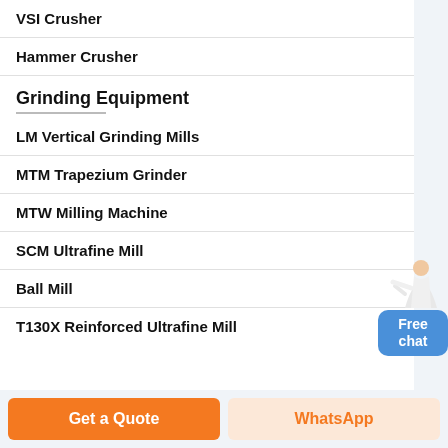VSI Crusher
Hammer Crusher
Grinding Equipment
LM Vertical Grinding Mills
MTM Trapezium Grinder
MTW Milling Machine
SCM Ultrafine Mill
Ball Mill
T130X Reinforced Ultrafine Mill
[Figure (illustration): Customer service representative figure with Free chat button]
Get a Quote | WhatsApp